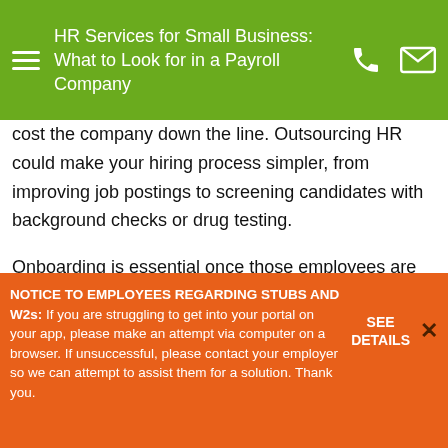HR Services for Small Business: What to Look for in a Payroll Company
cost the company down the line. Outsourcing HR could make your hiring process simpler, from improving job postings to screening candidates with background checks or drug testing.
Onboarding is essential once those employees are brought into the fold. HR providers can help businesses update their employee manuals, job descriptions, and training practices. They can also help
NOTICE TO EMPLOYEES REGARDING STUBS AND W2s: If you are struggling to get into your portal on your app, please make an attempt via computer on a browser. If unsuccessful, please contact your employer so we can attempt to assist them for a solution. Thank you.